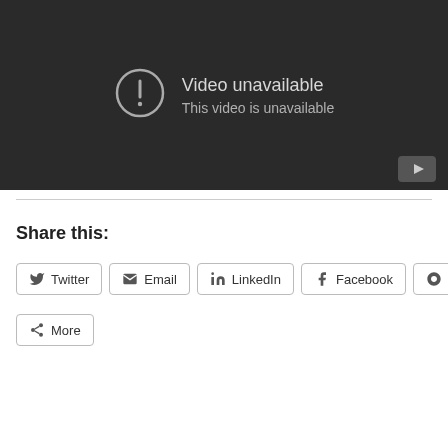[Figure (screenshot): YouTube video player showing 'Video unavailable' error message with an alert circle icon and a YouTube play button in the bottom right corner on a dark background]
Share this:
Twitter
Email
LinkedIn
Facebook
Pinterest
More